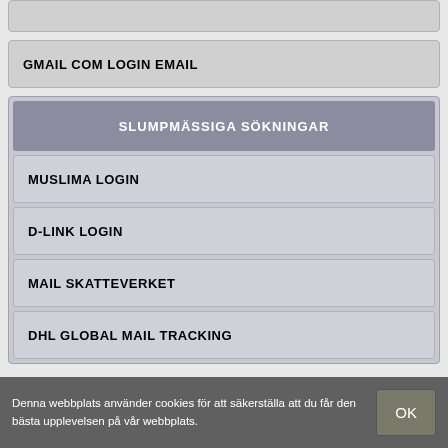GMAIL COM LOGIN EMAIL
SLUMPMÄSSIGA SÖKNINGAR
MUSLIMA LOGIN
D-LINK LOGIN
MAIL SKATTEVERKET
DHL GLOBAL MAIL TRACKING
Denna webbplats använder cookies för att säkerställa att du får den bästa upplevelsen på vår webbplats.